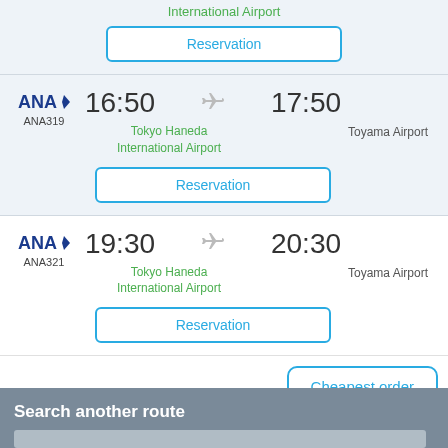International Airport
Reservation
ANA319 | 16:50 → 17:50 | Tokyo Haneda International Airport → Toyama Airport
Reservation
ANA321 | 19:30 → 20:30 | Tokyo Haneda International Airport → Toyama Airport
Reservation
Cheapest order
Search another route